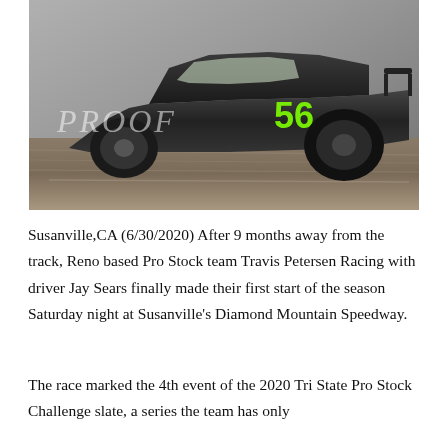[Figure (photo): A dark/black dirt track racing car numbered 56 with green accents, photographed in motion on a dirt track. The word PROOF is overlaid in white italic text on the lower-left of the image.]
Susanville,CA (6/30/2020) After 9 months away from the track, Reno based Pro Stock team Travis Petersen Racing with driver Jay Sears finally made their first start of the season Saturday night at Susanville's Diamond Mountain Speedway.
The race marked the 4th event of the 2020 Tri State Pro Stock Challenge slate, a series the team has only competed in the past three seasons.